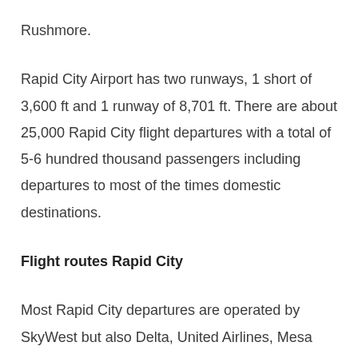Rushmore.
Rapid City Airport has two runways, 1 short of 3,600 ft and 1 runway of 8,701 ft. There are about 25,000 Rapid City flight departures with a total of 5-6 hundred thousand passengers including departures to most of the times domestic destinations.
Flight routes Rapid City
Most Rapid City departures are operated by SkyWest but also Delta, United Airlines, Mesa and Allegiant. Almost all RAP flight departures are domestic. If you want to travel from this airport to destinations outside the country, you will